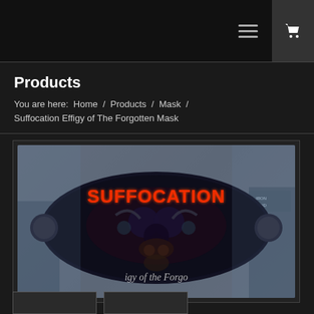Navigation bar with hamburger menu and cart icon
Products
You are here:  Home  /  Products  /  Mask  /  Suffocation Effigy of The Forgotten Mask
[Figure (photo): Product photo of Suffocation Effigy of The Forgotten Mask - a face mask with dark artwork featuring the Suffocation band logo in red/orange text and mirrored dark fantasy imagery from the Effigy of the Forgotten album, with ear holes visible on both sides]
[Figure (photo): Thumbnail images of related products partially visible at bottom of page]